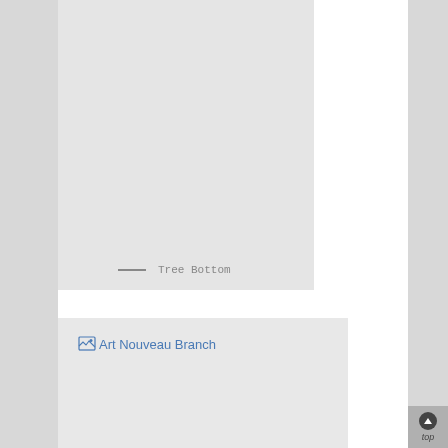[Figure (other): Large light gray placeholder image panel at top, showing no content with a legend entry 'Tree Bottom' marked by a horizontal gray line.]
— Tree Bottom
[Figure (other): Broken image placeholder labeled 'Art Nouveau Branch' shown as a browser broken-image icon followed by blue link text.]